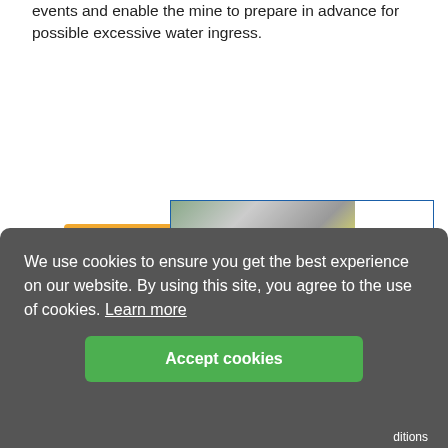events and enable the mine to prepare in advance for possible excessive water ingress.
[Figure (other): Orange 'Save to read list' button with bookmark icon]
[Figure (photo): ANDRITZ advertisement banner: 'WANT TO RECOVER VALUABLE RAW MATERIALS FROM BATTERIES?' with industrial photo of battery components and ANDRITZ logo with 'ENGINEERED SUCCESS' tagline]
This article has been tagged under the following:
African mining news
Diamond mining news
We use cookies to ensure you get the best experience on our website. By using this site, you agree to the use of cookies. Learn more
[Figure (other): Green 'Accept cookies' button]
ditions